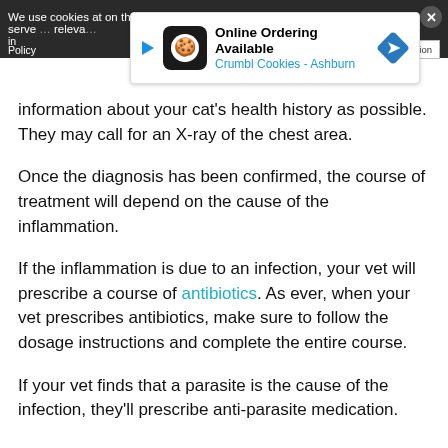We use cookies at on this site so we can serve you relevant ads and content. To accept cookies, please visit our Google Cookie Information Policy
[Figure (other): Advertisement banner for Crumbl Cookies - Ashburn showing online ordering available]
information about your cat's health history as possible. They may call for an X-ray of the chest area.
Once the diagnosis has been confirmed, the course of treatment will depend on the cause of the inflammation.
If the inflammation is due to an infection, your vet will prescribe a course of antibiotics. As ever, when your vet prescribes antibiotics, make sure to follow the dosage instructions and complete the entire course.
If your vet finds that a parasite is the cause of the infection, they'll prescribe anti-parasite medication.